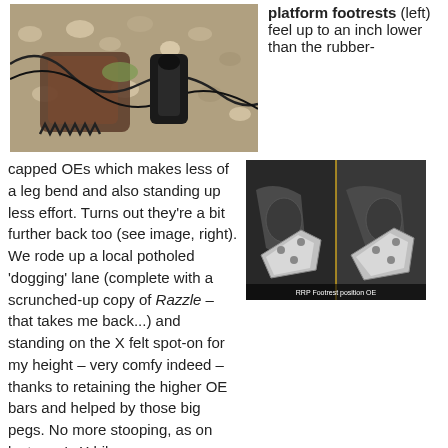[Figure (photo): Close-up photo of a motorcycle platform footrest/peg being held, with gravel background]
platform footrests (left) feel up to an inch lower than the rubber-
capped OEs which makes less of a leg bend and also standing up less effort. Turns out they're a bit further back too (see image, right). We rode up a local potholed 'dogging' lane (complete with a scrunched-up copy of Razzle – that takes me back...) and standing on the X felt spot-on for my height – very comfy indeed – thanks to retaining the higher OE bars and helped by those big pegs. No more stooping, as on last year's X bike.
[Figure (photo): Comparison photo showing RRP vs OE footrest position on a motorcycle, labeled 'RRP Footrest position OE']
A bigger diametre front wheel has a greater gyroscopic effect which
[Figure (photo): Photo of a motorcycle on a road with trees in background]